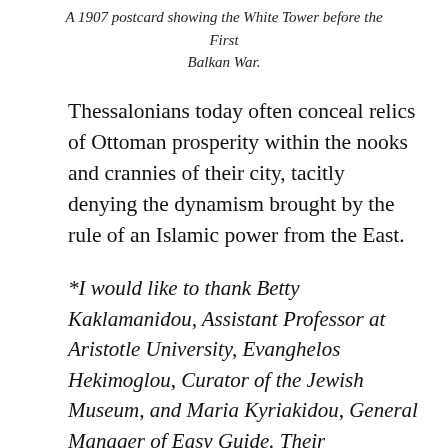A 1907 postcard showing the White Tower before the First Balkan War.
Thessalonians today often conceal relics of Ottoman prosperity within the nooks and crannies of their city, tacitly denying the dynamism brought by the rule of an Islamic power from the East.
*I would like to thank Betty Kaklamanidou, Assistant Professor at Aristotle University, Evanghelos Hekimoglou, Curator of the Jewish Museum, and Maria Kyriakidou, General Manager of Easy Guide. Their perspectives on and knowledge about Thessaloniki were invaluable, and their hospitality was deeply appreciated.